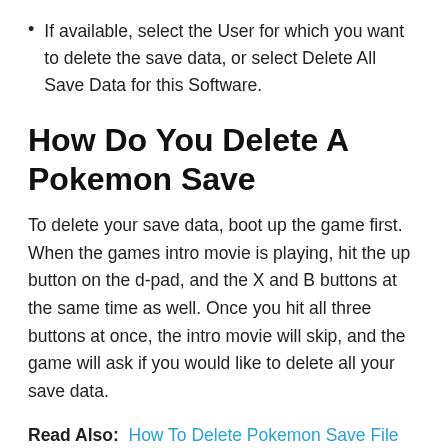If available, select the User for which you want to delete the save data, or select Delete All Save Data for this Software.
How Do You Delete A Pokemon Save
To delete your save data, boot up the game first. When the games intro movie is playing, hit the up button on the d-pad, and the X and B buttons at the same time as well. Once you hit all three buttons at once, the intro movie will skip, and the game will ask if you would like to delete all your save data.
Read Also:  How To Delete Pokemon Save File
How To Delete Pokemon Black